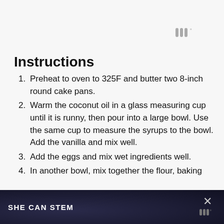[Figure (logo): Small gray logo icon resembling stylized 'W' with a degree symbol, positioned in upper right area]
Instructions
Preheat to oven to 325F and butter two 8-inch round cake pans.
Warm the coconut oil in a glass measuring cup until it is runny, then pour into a large bowl. Use the same cup to measure the syrups to the bowl. Add the vanilla and mix well.
Add the eggs and mix wet ingredients well.
In another bowl, mix together the flour, baking
SHE CAN STEM